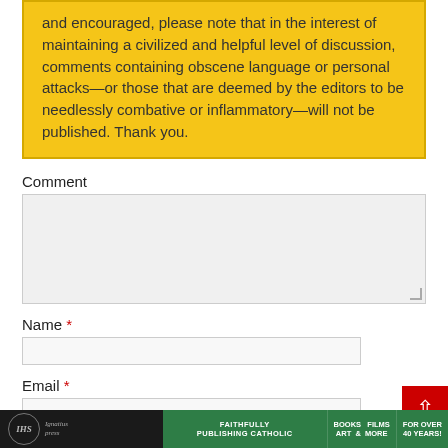and encouraged, please note that in the interest of maintaining a civilized and helpful level of discussion, comments containing obscene language or personal attacks—or those that are deemed by the editors to be needlessly combative or inflammatory—will not be published. Thank you.
Comment
[Comment textarea field]
Name *
[Name input field]
Email *
[Email input field]
Ignatius Press — FAITHFULLY PUBLISHING CATHOLIC — BOOKS FILMS ART & MORE — FOR OVER 40 YEARS!